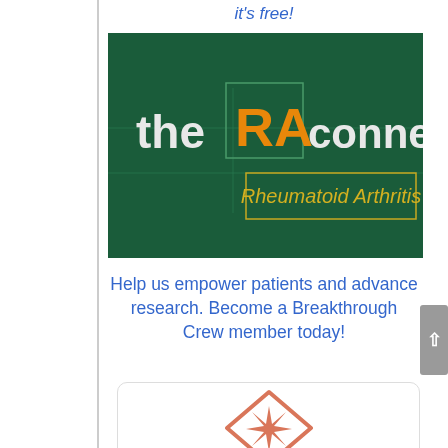it's free!
[Figure (logo): The RA Connection logo on dark green background. Text reads 'the RA connection' with 'RA' in orange inside a green box, and 'connection' in white. Below, a box with 'Rheumatoid Arthritis' in gold text on dark background.]
Help us empower patients and advance research. Become a Breakthrough Crew member today!
[Figure (logo): Breakthrough Crew logo — a diamond/rhombus shape with a starburst inside, rendered in terracotta/salmon color on white background inside a rounded card.]